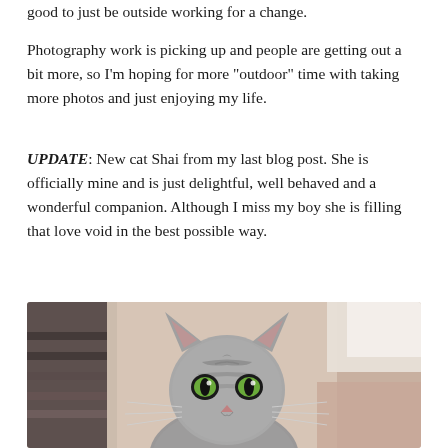good to just be outside working for a change.
Photography work is picking up and people are getting out a bit more, so I’m hoping for more “outdoor” time with taking more photos and just enjoying my life.
UPDATE: New cat Shai from my last blog post. She is officially mine and is just delightful, well behaved and a wonderful companion. Although I miss my boy she is filling that love void in the best possible way.
[Figure (photo): Close-up photo of a grey tabby cat with green eyes looking at the camera, with a blurred indoor background]